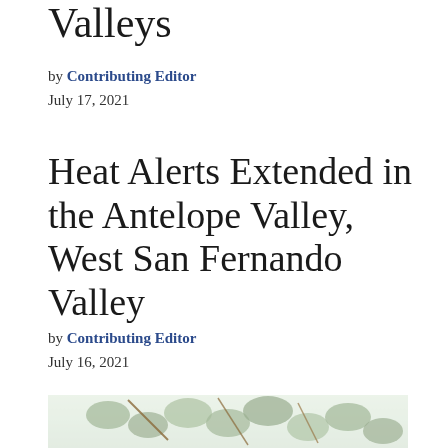Valleys
by Contributing Editor
July 17, 2021
Heat Alerts Extended in the Antelope Valley, West San Fernando Valley
by Contributing Editor
July 16, 2021
[Figure (photo): Close-up photo of frost-covered ivy or similar green leafy plant with white frost crystals on the leaves and stems]